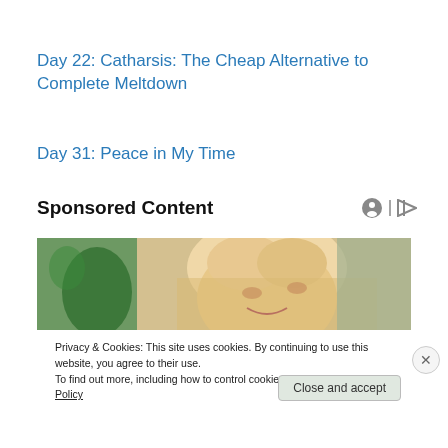Day 22: Catharsis: The Cheap Alternative to Complete Meltdown
Day 31: Peace in My Time
Sponsored Content
[Figure (photo): Photo of a blonde woman looking downward, with a plant visible in the background]
Privacy & Cookies: This site uses cookies. By continuing to use this website, you agree to their use.
To find out more, including how to control cookies, see here: Cookie Policy
Close and accept